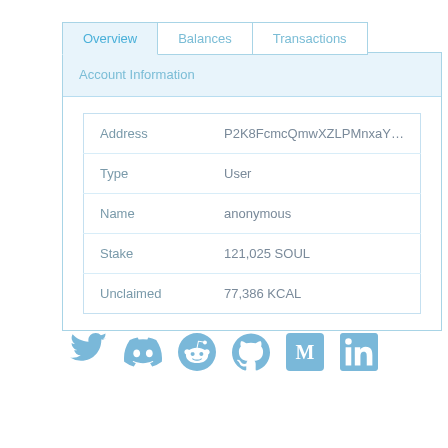| Field | Value |
| --- | --- |
| Address | P2K8FcmcQmwXZLPMnxaYzgwqMbJc |
| Type | User |
| Name | anonymous |
| Stake | 121,025 SOUL |
| Unclaimed | 77,386 KCAL |
[Figure (other): Social media icons: Twitter, Discord, Reddit, GitHub, Medium, LinkedIn — all in light blue color]